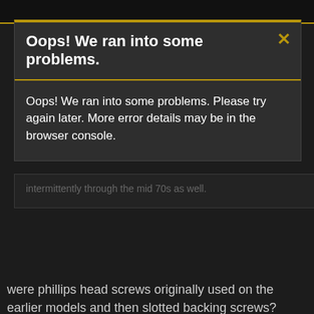Oops! We ran into some problems.
Oops! We ran into some problems. Please try again later. More error details may be in the browser console.
intermittently through the mid 70s as well.
were phillips head screws originally used on the earlier models and then slotted backing screws?